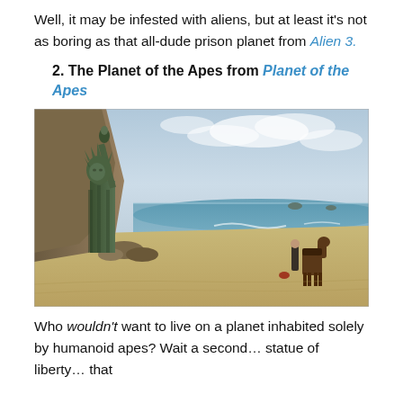Well, it may be infested with aliens, but at least it's not as boring as that all-dude prison planet from Alien 3.
2. The Planet of the Apes from Planet of the Apes
[Figure (photo): A scene from Planet of the Apes showing a ruined Statue of Liberty half-buried in sand on a beach, with ocean in the background and a horse and person in the distance.]
Who wouldn't want to live on a planet inhabited solely by humanoid apes? Wait a second... statue of liberty... that